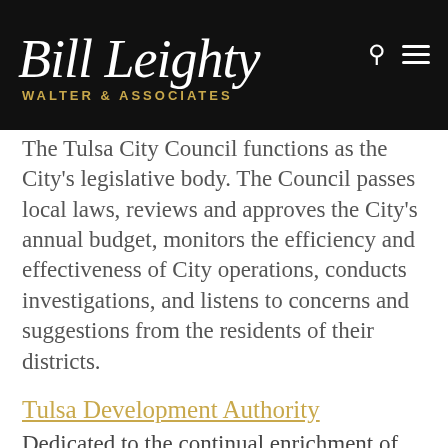Bill Leighty WALTER & ASSOCIATES
The Tulsa City Council functions as the City's legislative body. The Council passes local laws, reviews and approves the City's annual budget, monitors the efficiency and effectiveness of City operations, conducts investigations, and listens to concerns and suggestions from the residents of their districts.
Tulsa Development Authority
Dedicated to the continual enrichment of our communities and the enhancement of our quality of life, the Tulsa Development Authority is truly…